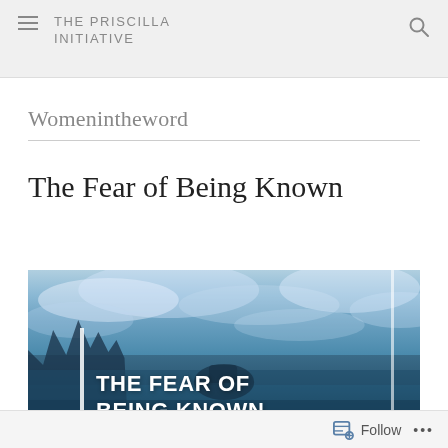THE PRISCILLA INITIATIVE
Womenintheword
The Fear of Being Known
[Figure (photo): A scenic photograph of a lake or ocean with cloudy sky and tree silhouettes, overlaid with bold white text reading 'THE FEAR OF BEING KNOWN' and a white vertical bar on the left side.]
Follow ...